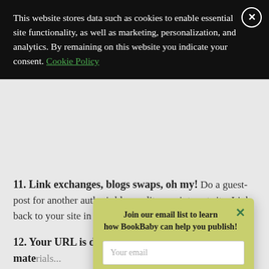This website stores data such as cookies to enable essential site functionality, as well as marketing, personalization, and analytics. By remaining on this website you indicate your consent. Cookie Policy
11. Link exchanges, blogs swaps, oh my! Do a guest-post for another author's blog or literary-interest site. Link back to your site in the article. Voila!
12. Your URL is displayed on all your promo mate... s kit.
Join our email list to learn how BookBaby can help you publish!
13. Yo... e top of you... kind of aut... readin... mini-docum...